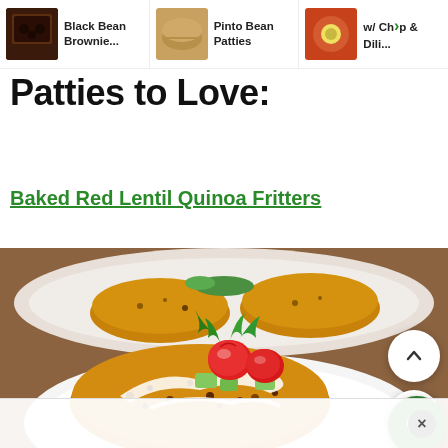Black Bean Brownie... | Pinto Bean Patties | w/ Ch>p & Dili...
Patties to Love:
Baked Red Lentil Quinoa Fritters
[Figure (photo): Close-up photo of a baked red lentil quinoa fritter patty on a white plate, topped with white yogurt sauce, cherry tomatoes, cucumber pieces, and green herbs/arugula. Background shows more fritters on a plate.]
×